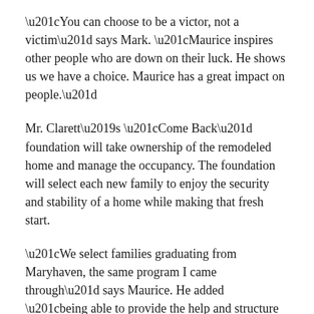“You can choose to be a victor, not a victim” says Mark. “Maurice inspires other people who are down on their luck. He shows us we have a choice. Maurice has a great impact on people.”
Mr. Clarett’s “Come Back” foundation will take ownership of the remodeled home and manage the occupancy. The foundation will select each new family to enjoy the security and stability of a home while making that fresh start.
“We select families graduating from Maryhaven, the same program I came through” says Maurice. He added “being able to provide the help and structure makes me feel worthy.”
This year’s recipient is a single mother with a son at home. Eryk is a bright, artistic 11 year old who likes to play football and basketball, likes to draw